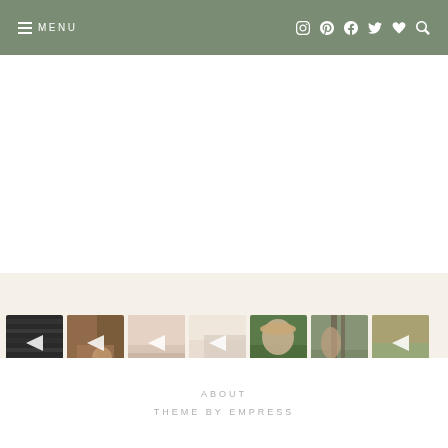≡ MENU  [icons: instagram, pinterest, facebook, twitter, heart, search]
[Figure (photo): Instagram video thumbnails strip showing 7 lifestyle photos with play buttons, on a beige background]
ABOUT  THEME BY EMPRESS